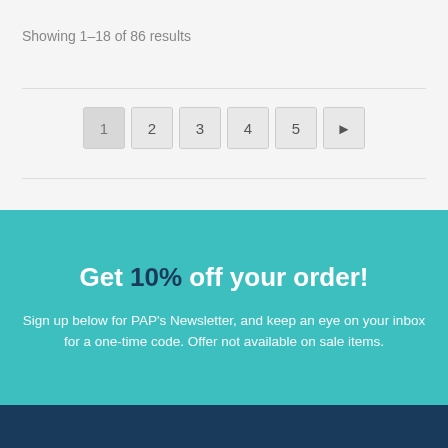Showing 1–18 of 86 results
1 2 3 4 5 ▶
Get 10% off your order!
Sign up below for PAP's Newsletter, and keep an eye on your inbox for a one-time code. Offer not available on sale items.